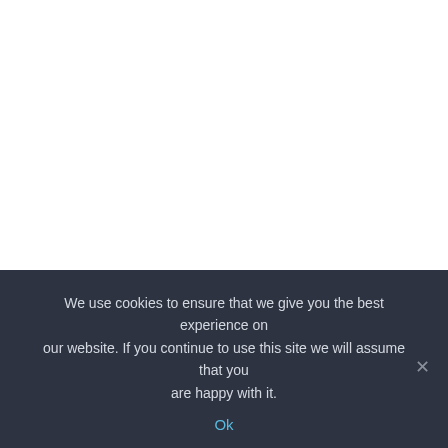1st Sgt. Thomas B. Lund get the surprise of a lifetime
Photo credit: Hew Burney/Hard Rock Hotel & Casino.
Sgt. Lund was completely shocked by the presentation. Informed that he was being pampered by an afternoon at the spa, his reaction to the suite was priceless. In complete awe,
We use cookies to ensure that we give you the best experience on our website. If you continue to use this site we will assume that you are happy with it.
Ok